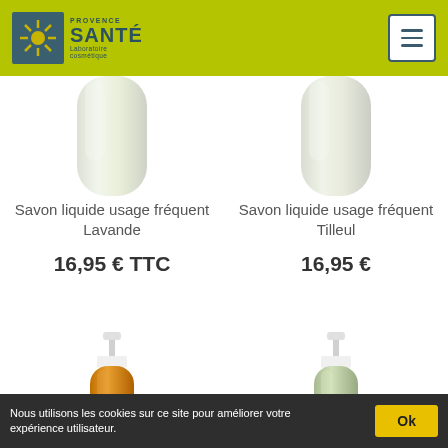[Figure (logo): Provence Santé Laboratoire Cosmétique logo with green background and sun/star icon]
Savon liquide usage fréquent Lavande
16,95 € TTC
Savon liquide usage fréquent Tilleul
16,95 €
[Figure (photo): Orange liquid soap bottle with pump dispenser]
[Figure (photo): Clear/green liquid soap bottle with pump dispenser]
Nous utilisons les cookies sur ce site pour améliorer votre expérience utilisateur.